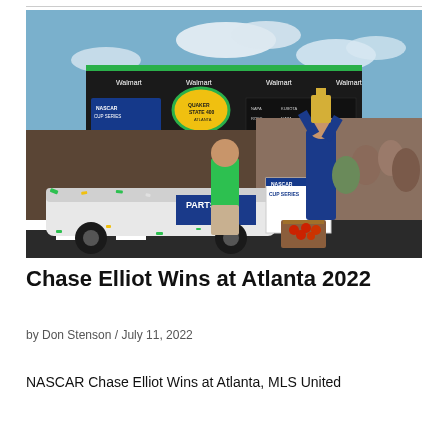[Figure (photo): Chase Elliott victory lane celebration at Atlanta 2022 NASCAR Cup Series race. Elliott is holding a trophy above his head wearing a NAPA Auto Parts racing suit. A man in a green polo shirt stands nearby. Green confetti covers the race car. NASCAR Cup Series podium signage visible. Crowd in background.]
Chase Elliot Wins at Atlanta 2022
by Don Stenson / July 11, 2022
NASCAR Chase Elliot Wins at Atlanta, MLS United